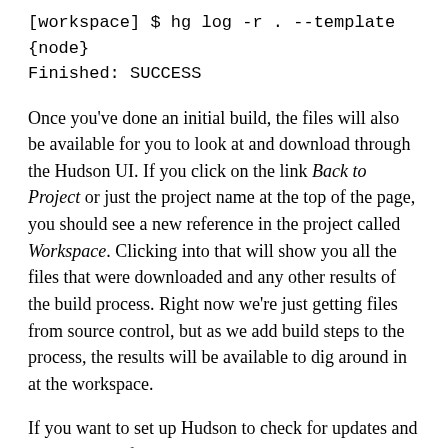[workspace] $ hg log -r . --template {node}
Finished: SUCCESS
Once you've done an initial build, the files will also be available for you to look at and download through the Hudson UI. If you click on the link Back to Project or just the project name at the top of the page, you should see a new reference in the project called Workspace. Clicking into that will show you all the files that were downloaded and any other results of the build process. Right now we're just getting files from source control, but as we add build steps to the process, the results will be available to dig around in at the workspace.
If you want to set up Hudson to check for updates and build when it finds them, you can go back to the project